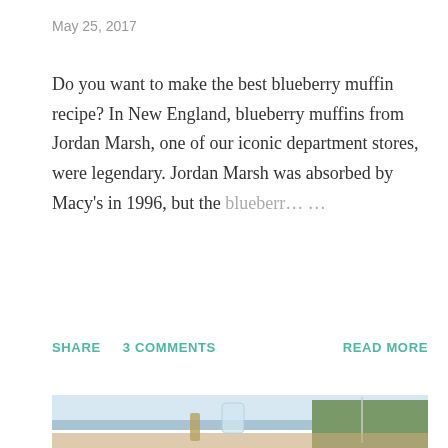May 25, 2017
Do you want to make the best blueberry muffin recipe? In New England, blueberry muffins from Jordan Marsh, one of our iconic department stores, were legendary. Jordan Marsh was absorbed by Macy's in 1996, but the blueberr… …
SHARE   3 COMMENTS   READ MORE
[Figure (photo): Outdoor table setting with glass carafe and bottles in the foreground, American flag on right, water and hills visible in background]